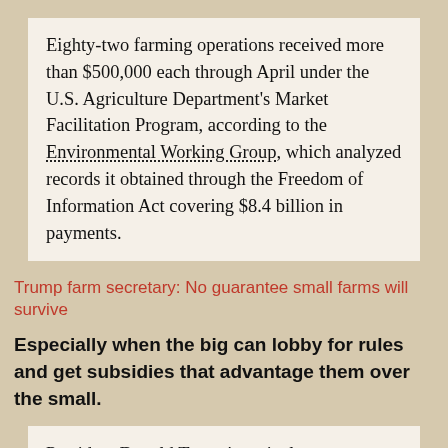Eighty-two farming operations received more than $500,000 each through April under the U.S. Agriculture Department's Market Facilitation Program, according to the Environmental Working Group, which analyzed records it obtained through the Freedom of Information Act covering $8.4 billion in payments.
Trump farm secretary: No guarantee small farms will survive
Especially when the big can lobby for rules and get subsidies that advantage them over the small.
President Donald Trump's agriculture secretary said Tuesday during a stop in Wisconsin that he doesn't know if the family dairy farm can survive as the industry continues to face a future of oversupply...